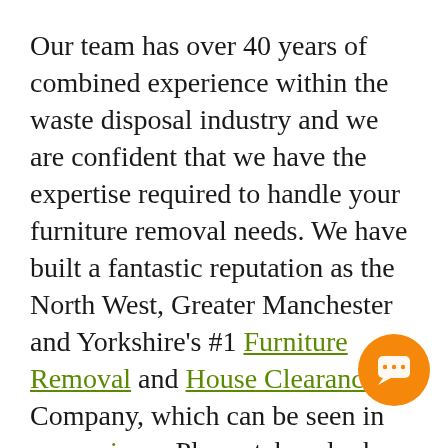Our team has over 40 years of combined experience within the waste disposal industry and we are confident that we have the expertise required to handle your furniture removal needs. We have built a fantastic reputation as the North West, Greater Manchester and Yorkshire's #1 Furniture Removal and House Clearance Company, which can be seen in our reviews. Please take a look.
Our prices are based on the volume and weight of waste being disposed of. We can usually give you a good idea of cost from a phone call, but if you are able to send over pictures of the waste we give you an accurate quote. Before any work commences a final price will be